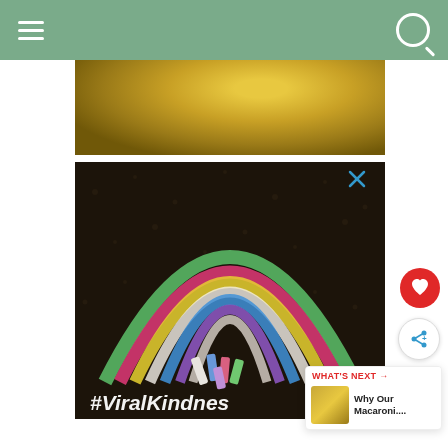navigation header with hamburger menu and search icon
[Figure (photo): Close-up photo of macaroni salad or potato dish in a bowl, yellowish food with dark background]
[Figure (photo): Photo of a chalk rainbow drawn on dark asphalt with pieces of chalk scattered at the base, hashtag #ViralKindness written at the bottom in white chalk letters. Close button (X) visible in upper right of image.]
#ViralKindnes